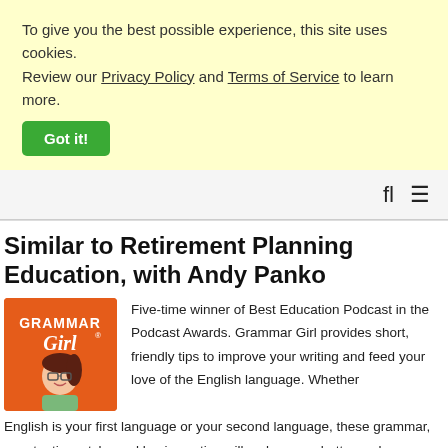To give you the best possible experience, this site uses cookies. Review our Privacy Policy and Terms of Service to learn more.
Got it!
Similar to Retirement Planning Education, with Andy Panko
[Figure (illustration): Grammar Girl podcast logo: orange background with white text 'GRAMMAR Girl' and a cartoon illustration of a woman with glasses and dark hair.]
Five-time winner of Best Education Podcast in the Podcast Awards. Grammar Girl provides short, friendly tips to improve your writing and feed your love of the English language. Whether English is your first language or your second language, these grammar, punctuation, style, and business tips will make you a better and more successful writer. Grammar Girl is a Quick and